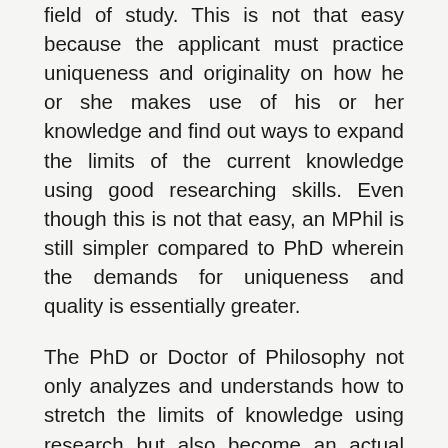field of study. This is not that easy because the applicant must practice uniqueness and originality on how he or she makes use of his or her knowledge and find out ways to expand the limits of the current knowledge using good researching skills. Even though this is not that easy, an MPhil is still simpler compared to PhD wherein the demands for uniqueness and quality is essentially greater.
The PhD or Doctor of Philosophy not only analyzes and understands how to stretch the limits of knowledge using research but also become an actual contributor to the pool of knowledge. More knowledge is therefore interpreted and created in the PhD degree.
Now let us look at differences between the two degrees. F...